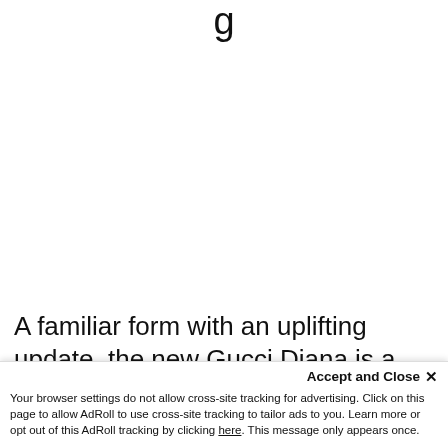g
A familiar form with an uplifting update, the new Gucci Diana is a nod to the emblem’s …
Accept and Close ×
Your browser settings do not allow cross-site tracking for advertising. Click on this page to allow AdRoll to use cross-site tracking to tailor ads to you. Learn more or opt out of this AdRoll tracking by clicking here. This message only appears once.